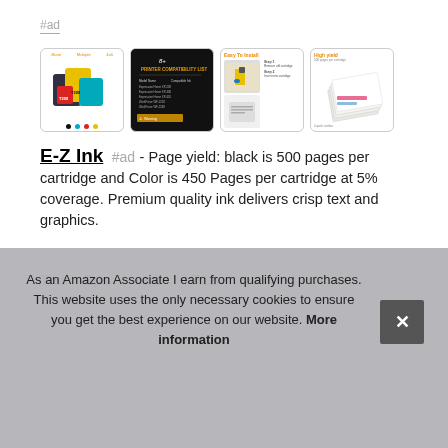#ad
[Figure (photo): Four product thumbnail images showing ink cartridges, printer compatibility list, installation steps, and paper stack]
E-Z Ink #ad - Page yield: black is 500 pages per cartridge and Color is 450 Pages per cartridge at 5% coverage. Premium quality ink delivers crisp text and graphics.
This ... Eps... rem... T22... wor...
As an Amazon Associate I earn from qualifying purchases. This website uses the only necessary cookies to ensure you get the best experience on our website. More information